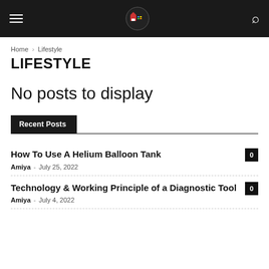Navigation bar with hamburger menu, logo, and search icon
Home › Lifestyle
LIFESTYLE
No posts to display
Recent Posts
How To Use A Helium Balloon Tank
Amiya - July 25, 2022
0
Technology & Working Principle of a Diagnostic Tool
Amiya - July 4, 2022
0